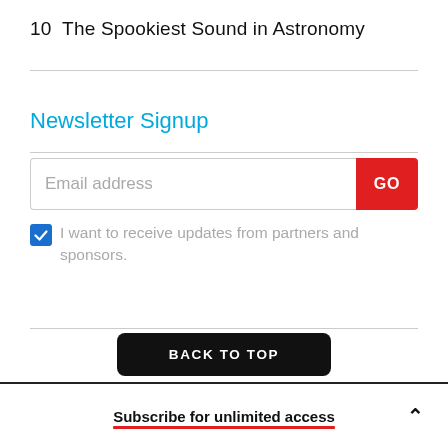10  The Spookiest Sound in Astronomy
Newsletter Signup
[Figure (other): Email address input field with red GO button]
I want to receive updates from partners and sponsors.
[Figure (other): BACK TO TOP black rounded button]
Subscribe for unlimited access